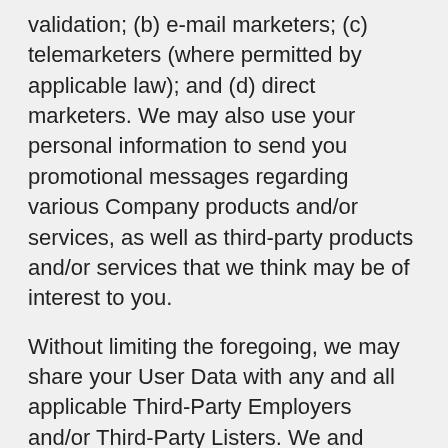validation; (b) e-mail marketers; (c) telemarketers (where permitted by applicable law); and (d) direct marketers. We may also use your personal information to send you promotional messages regarding various Company products and/or services, as well as third-party products and/or services that we think may be of interest to you.
Without limiting the foregoing, we may share your User Data with any and all applicable Third-Party Employers and/or Third-Party Listers. We and these Third-Party Employers and Third-Party Listers may use your User Data to offer you Employment Offerings and/or Listing Offerings, as applicable, including via email, and for any other lawful purposes, subject to any restrictions contained herein. The information that you supply directly to any Third-Party Employers and/or Third-Party Listers shall be governed by the applicable Third-Party Employers' and/or Third-Party Listers' privacy